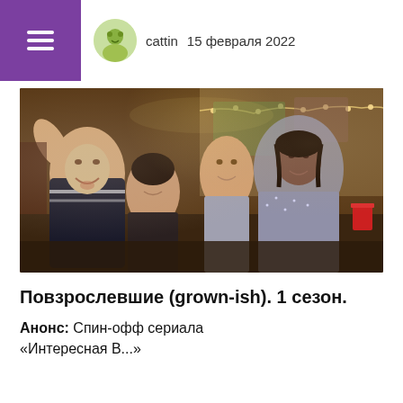cattin   15 февраля 2022
[Figure (photo): Group of five young women posing together for a selfie in a dorm room decorated with string lights, from the TV show grown-ish season 1]
Повзрослевшие (grown-ish). 1 сезон.
Анонс: Спин-офф сериала «Интересная В...»